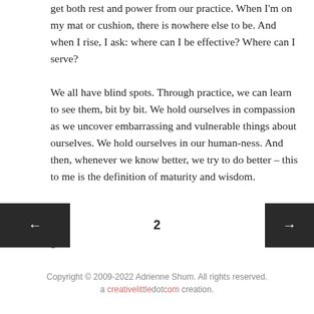get both rest and power from our practice. When I'm on my mat or cushion, there is nowhere else to be. And when I rise, I ask: where can I be effective? Where can I serve?
We all have blind spots. Through practice, we can learn to see them, bit by bit. We hold ourselves in compassion as we uncover embarrassing and vulnerable things about ourselves. We hold ourselves in our human-ness. And then, whenever we know better, we try to do better – this to me is the definition of maturity and wisdom.
Here's to uncovering our blind spots with humility and grace,
Adrienne
April 11, 2022
2
Copyright © 2009-2022 Adrienne Shum. All rights reserved.
a creativelittledotcom creation.